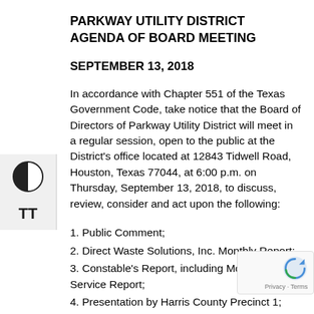PARKWAY UTILITY DISTRICT AGENDA OF BOARD MEETING
SEPTEMBER 13, 2018
In accordance with Chapter 551 of the Texas Government Code, take notice that the Board of Directors of Parkway Utility District will meet in a regular session, open to the public at the District's office located at 12843 Tidwell Road, Houston, Texas 77044, at 6:00 p.m. on Thursday, September 13, 2018, to discuss, review, consider and act upon the following:
1. Public Comment;
2. Direct Waste Solutions, Inc. Monthly Report;
3. Constable's Report, including Monthly Patrol Service Report;
4. Presentation by Harris County Precinct 1;